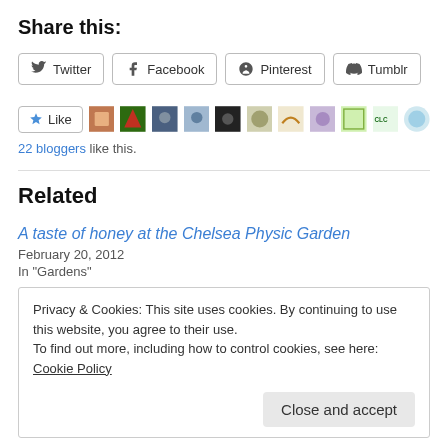Share this:
Twitter | Facebook | Pinterest | Tumblr
Like | [avatars] | 22 bloggers like this.
Related
A taste of honey at the Chelsea Physic Garden
February 20, 2012
In "Gardens"
Privacy & Cookies: This site uses cookies. By continuing to use this website, you agree to their use.
To find out more, including how to control cookies, see here: Cookie Policy
Close and accept
In "Beekeeping"